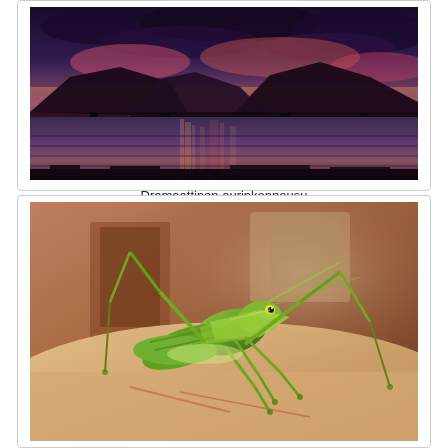[Figure (photo): Dramatic sunset over water with mountains silhouetted in background, colorful pink and purple clouds reflected on the water surface, with small boats visible]
Dramaattinen aurinkonnousu
[Figure (photo): Close-up photo of a large green grasshopper/locust resting on a pale surface, with a wooden interior background visible]